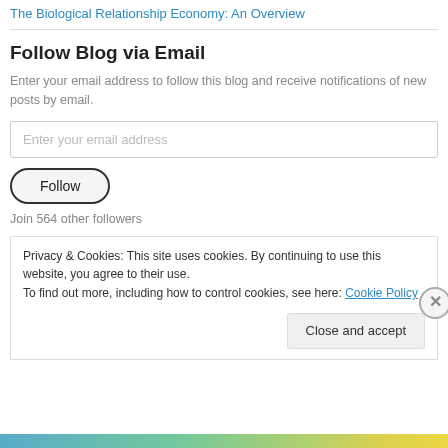The Biological Relationship Economy: An Overview
Follow Blog via Email
Enter your email address to follow this blog and receive notifications of new posts by email.
Enter your email address
Follow
Join 564 other followers
Privacy & Cookies: This site uses cookies. By continuing to use this website, you agree to their use. To find out more, including how to control cookies, see here: Cookie Policy
Close and accept